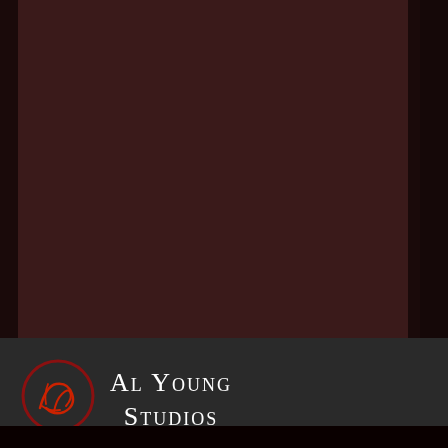[Figure (illustration): Two-panel dark maroon/burgundy color background. Left panel is a slightly lighter dark brownish-red (#3a1a1a), right panel is a very dark near-black maroon (#150808). These form the background of what appears to be a cover page.]
[Figure (logo): Al Young Studios logo: a circular red brushstroke outline containing a stylized red calligraphic signature or monogram.]
Al Young Studios